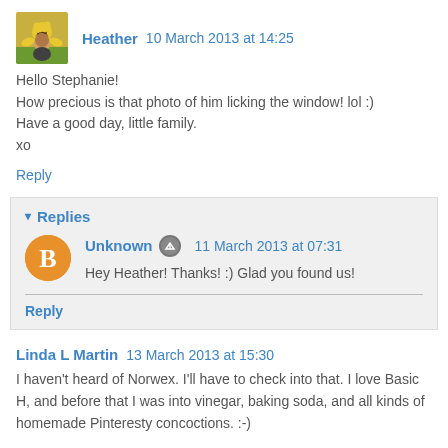[Figure (photo): Small square avatar photo of a woman (Heather) with sunflowers in background]
Heather  10 March 2013 at 14:25
Hello Stephanie!
How precious is that photo of him licking the window! lol :)
Have a good day, little family.
xo
Reply
Replies
[Figure (logo): Orange circle Blogger default avatar icon with B letter]
Unknown  11 March 2013 at 07:31
Hey Heather! Thanks! :) Glad you found us!
Reply
Linda L Martin  13 March 2013 at 15:30
I haven't heard of Norwex. I'll have to check into that. I love Basic H, and before that I was into vinegar, baking soda, and all kinds of homemade Pinteresty concoctions. :-)